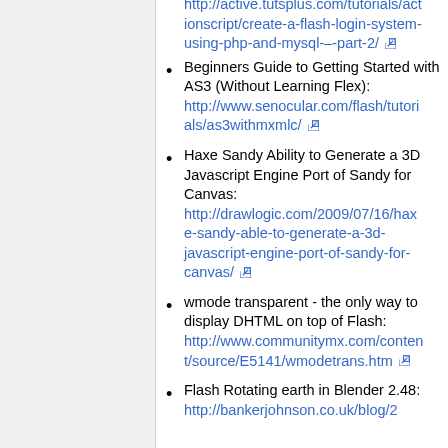http://active.tutsplus.com/tutorials/actionscript/create-a-flash-login-system-using-php-and-mysql-–-part-2/ [external link]
Beginners Guide to Getting Started with AS3 (Without Learning Flex): http://www.senocular.com/flash/tutorials/as3withmxmlc/ [external link]
Haxe Sandy Ability to Generate a 3D Javascript Engine Port of Sandy for Canvas: http://drawlogic.com/2009/07/16/haxe-sandy-able-to-generate-a-3d-javascript-engine-port-of-sandy-for-canvas/ [external link]
wmode transparent - the only way to display DHTML on top of Flash: http://www.communitymx.com/content/source/E5141/wmodetrans.htm [external link]
Flash Rotating earth in Blender 2.48: http://bankerjohnson.co.uk/blog/2...